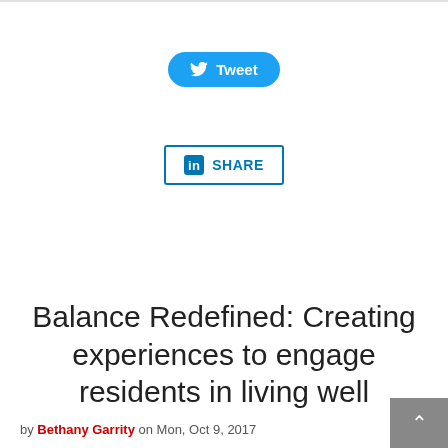[Figure (other): Tweet button — blue rounded rectangle with Twitter bird icon and 'Tweet' label]
[Figure (other): LinkedIn Share button — outlined rectangle with LinkedIn 'in' icon and 'SHARE' label]
Balance Redefined: Creating experiences to engage residents in living well
by Bethany Garrity on Mon, Oct 9, 2017